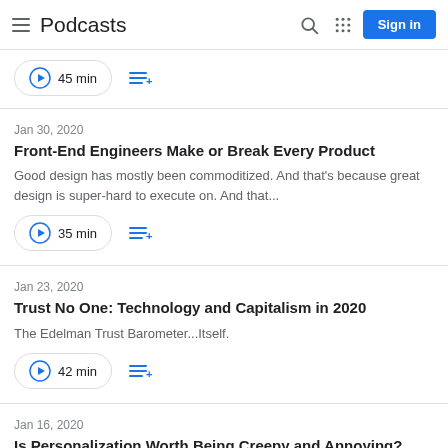Podcasts
45 min
Jan 30, 2020
Front-End Engineers Make or Break Every Product
Good design has mostly been commoditized. And that's because great design is super-hard to execute on. And that...
35 min
Jan 23, 2020
Trust No One: Technology and Capitalism in 2020
The Edelman Trust Barometer...Itself.
42 min
Jan 16, 2020
Is Personalization Worth Being Creepy and Annoying?